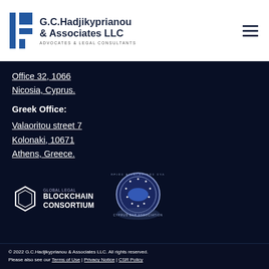[Figure (logo): G.C.Hadjikyprianou & Associates LLC logo with geometric icon and text 'ADVOCATES & LEGAL CONSULTANTS']
Office 32, 1066
Nicosia, Cyprus.
Greek Office:
Valaoritou street 7
Kolonaki, 10671
Athens, Greece.
[Figure (logo): Global Legal Blockchain Consortium logo - hexagon with text]
[Figure (logo): Cyprus Bar Association circular seal/badge]
© 2022 G.C.Hadjikyprianou & Associates LLC. All rights reserved. Please also see our Terms of Use | Privacy Notice | CSR Policy